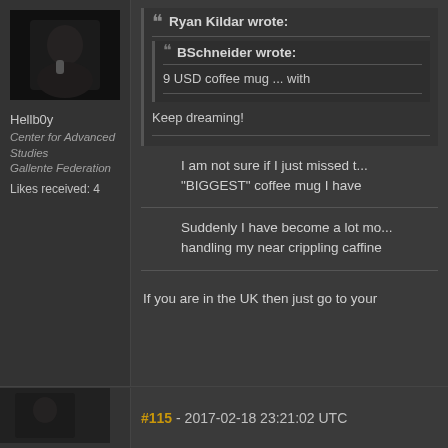[Figure (photo): Dark avatar photo of a person, partially lit]
Hellb0y
Center for Advanced Studies
Gallente Federation
Likes received: 4
Ryan Kildar wrote:
BSchneider wrote:
9 USD coffee mug ... with
Keep dreaming!
I am not sure if I just missed t... "BIGGEST" coffee mug I have
Suddenly I have become a lot mo... handling my near crippling caffine
If you are in the UK then just go to your
#115 - 2017-02-18 23:21:02 UTC